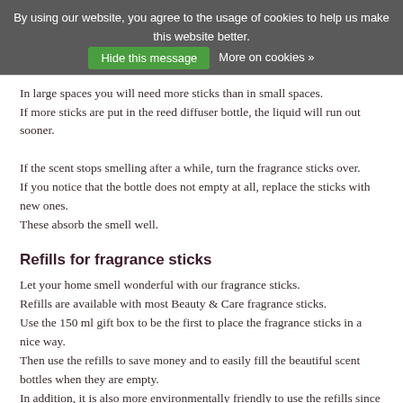By using our website, you agree to the usage of cookies to help us make this website better. Hide this message More on cookies »
In large spaces you will need more sticks than in small spaces.
If more sticks are put in the reed diffuser bottle, the liquid will run out sooner.

If the scent stops smelling after a while, turn the fragrance sticks over.
If you notice that the bottle does not empty at all, replace the sticks with new ones.
These absorb the smell well.
Refills for fragrance sticks
Let your home smell wonderful with our fragrance sticks.
Refills are available with most Beauty & Care fragrance sticks.
Use the 150 ml gift box to be the first to place the fragrance sticks in a nice way.
Then use the refills to save money and to easily fill the beautiful scent bottles when they are empty.
In addition, it is also more environmentally friendly to use the refills since you only have to purchase the beautiful bottle once.

Fill the bottles out of the reach of children and avoid sources of